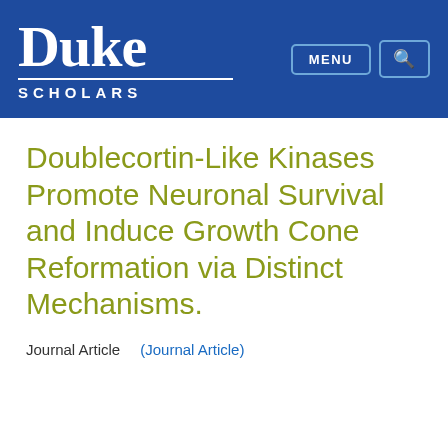Duke Scholars
Doublecortin-Like Kinases Promote Neuronal Survival and Induce Growth Cone Reformation via Distinct Mechanisms.
Journal Article    (Journal Article)